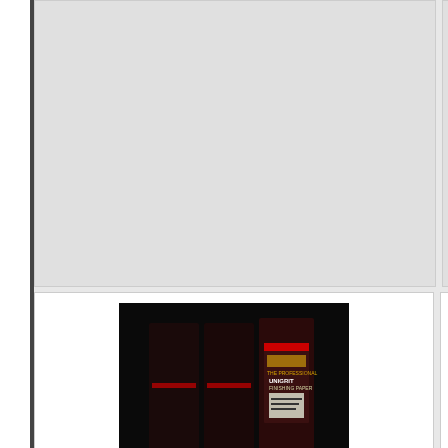[Figure (photo): Top-left product card placeholder (gray background, partially visible at top of page)]
[Figure (photo): Top-right product card placeholder (gray background, partially cut off on right edge)]
[Figure (photo): Meguiars Unigrit Sandpaper Sheets product image on dark background]
Sandpaper, Unigrit Sandpaper Sheets, 1000 grit
1000 grit. Meguiars' Unigrit papers use a very narrow range on particle sizes for an even... Click to read more »
$21.95 USD
Add this item to cart
[Figure (photo): Partially visible right product card showing S... title, partial description text, and partially visible price/button]
Sa...
1200 papers use a very narrow range on particle sizes for an even...